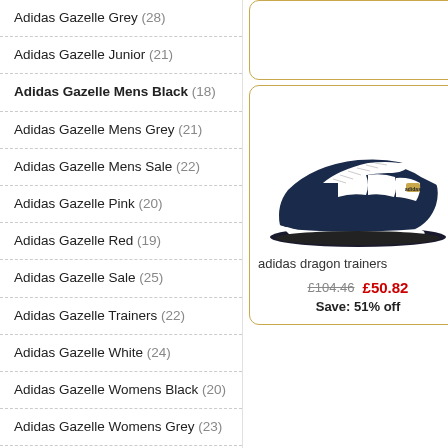Adidas Gazelle Grey (28)
Adidas Gazelle Junior (21)
Adidas Gazelle Mens Black (18)
Adidas Gazelle Mens Grey (21)
Adidas Gazelle Mens Sale (22)
Adidas Gazelle Pink (20)
Adidas Gazelle Red (19)
Adidas Gazelle Sale (25)
Adidas Gazelle Trainers (22)
Adidas Gazelle White (24)
Adidas Gazelle Womens Black (20)
Adidas Gazelle Womens Grey (23)
Adidas Gazelle Womens Pink (23)
Adidas Gazelle Womens Sale (21)
Adidas Hamburg (28)
Adidas Hamburg Sale (22)
[Figure (photo): Adidas dragon trainers - navy blue sneaker with white stripes]
adidas dragon trainers
£104.46  £50.82  Save: 51% off
adid...
£97...